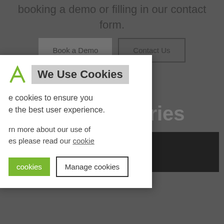booking a demo or filling in our contact form.
Contact Us
We Use Cookies
e cookies to ensure you e the best user experience.
rn more about our use of es please read our cookie
Related Stories
cookies
Manage cookies
[Figure (screenshot): Bottom thumbnails of related story images]